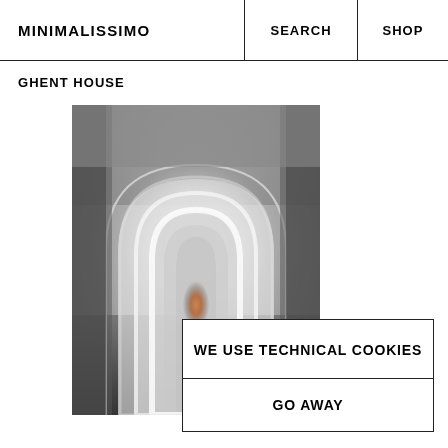MINIMALISSIMO   SEARCH   SHOP
GHENT HOUSE
[Figure (photo): Architectural interior photograph showing a perspective view through a series of nested white arched doorways/hallways receding into the distance, with warm light visible at the far end. The overall palette is grey and white with a small warm amber/orange glow at the center.]
WE USE TECHNICAL COOKIES
GO AWAY